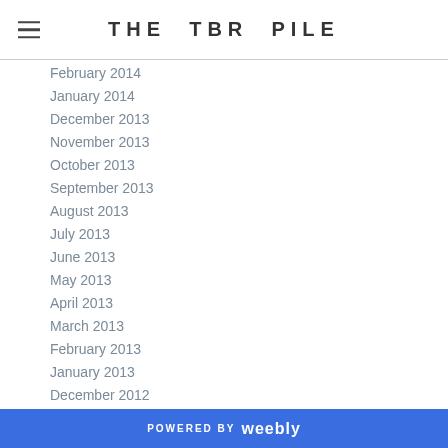THE TBR PILE
February 2014
January 2014
December 2013
November 2013
October 2013
September 2013
August 2013
July 2013
June 2013
May 2013
April 2013
March 2013
February 2013
January 2013
December 2012
November 2012
October 2012
POWERED BY weebly